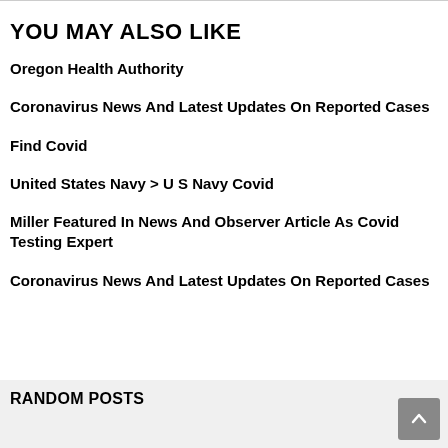YOU MAY ALSO LIKE
Oregon Health Authority
Coronavirus News And Latest Updates On Reported Cases
Find Covid
United States Navy > U S Navy Covid
Miller Featured In News And Observer Article As Covid Testing Expert
Coronavirus News And Latest Updates On Reported Cases
RANDOM POSTS